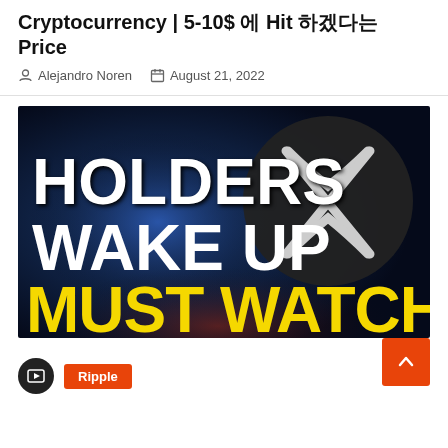Cryptocurrency | 5-10$ 에 Hit 하겠다는 Price
Alejandro Noren  August 21, 2022
[Figure (photo): Thumbnail image with dark blue background showing bold white text 'HOLDERS WAKE UP' and yellow text 'MUST WATCH', with a Ripple (XRP) dark circular logo on the right side.]
Ripple